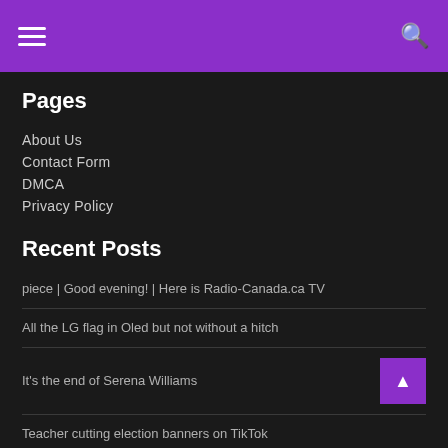Navigation header with hamburger menu and search icon
Pages
About Us
Contact Form
DMCA
Privacy Policy
Recent Posts
piece | Good evening! | Here is Radio-Canada.ca TV
All the LG flag in Oled but not without a hitch
It's the end of Serena Williams
Teacher cutting election banners on TikTok
M105 Day Seven: Early Childhood Promises Expected on Saturday